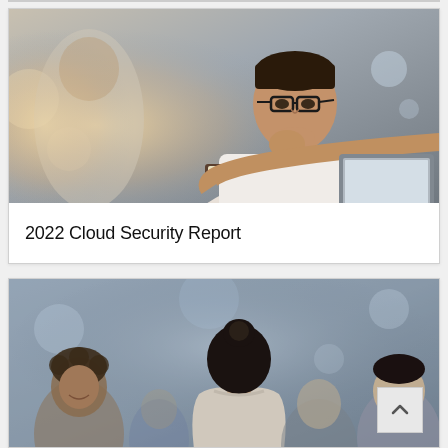[Figure (photo): Professional man with glasses wearing a white shirt, seated and resting his chin on his hand thoughtfully, looking at an open laptop. Office environment with soft warm light on the left side.]
2022 Cloud Security Report
[Figure (photo): Professional setting with a woman seen from behind with hair in a bun, addressing a group of diverse people in front of her. Modern office or conference environment with blurred background.]